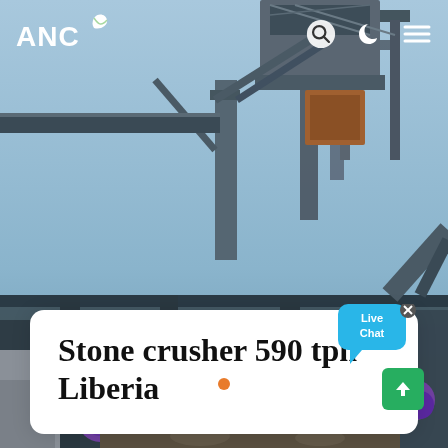[Figure (photo): Industrial stone crusher / screening plant machinery photographed from below against a light blue sky. Heavy steel frame structures, conveyor components, and purple rollers visible. Industrial mining/quarrying equipment.]
ANC (logo with leaf icon) — navigation bar with search, dark mode, and menu icons
Stone crusher 590 tph Liberia